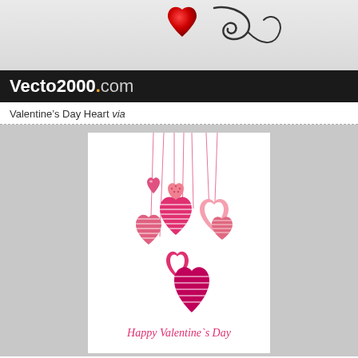[Figure (illustration): Website header banner with Vecto2000.com logo on dark bar, decorative red heart and swirl on grey gradient background]
Valentine's Day Heart via
[Figure (illustration): Valentine's Day card with multiple hanging hearts in pink and red with various patterns (stripes, dots, outlines), and 'Happy Valentine's Day' text at the bottom in pink cursive]